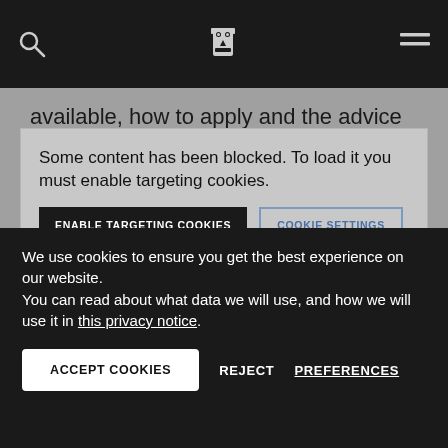Navigation bar with search icon, owl logo, and menu icon
available, how to apply and the advice and support we provide.
Some content has been blocked. To load it you must enable targeting cookies.
ENABLE TARGETING COOKIES
COOKIE SETTINGS
We use cookies to ensure you get the best experience on our website.
You can read about what data we will use, and how we will use it in this privacy notice.
ACCEPT COOKIES
REJECT
PREFERENCES